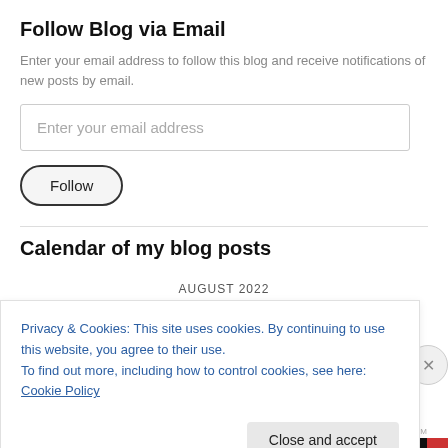Follow Blog via Email
Enter your email address to follow this blog and receive notifications of new posts by email.
Enter your email address
Follow
Calendar of my blog posts
AUGUST 2022
Privacy & Cookies: This site uses cookies. By continuing to use this website, you agree to their use.
To find out more, including how to control cookies, see here: Cookie Policy
Close and accept